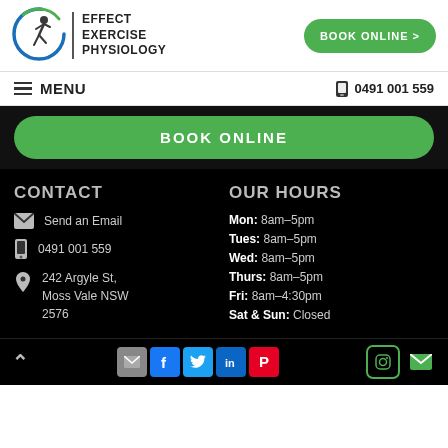[Figure (logo): Effect Exercise Physiology logo with running figure and circular swoosh, green and blue]
EFFECT EXERCISE PHYSIOLOGY
BOOK ONLINE >
≡ MENU
📱 0491 001 559
BOOK ONLINE
CONTACT
OUR HOURS
Send an Email
0491 001 559
242 Argyle St, Moss Vale NSW 2576
Mon: 8am–5pm
Tues: 8am–5pm
Wed: 8am–5pm
Thurs: 8am–5pm
Fri: 8am–4:30pm
Sat & Sun: Closed